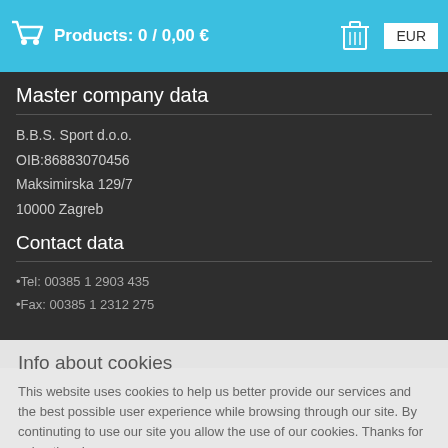Products: 0 / 0,00 €  EUR
Master company data
B.B.S. Sport d.o.o.
OIB:86883070456
Maksimirska 129/7
10000 Zagreb
Croatia
Contact data
•Tel: 00385 1 2903 435
•Fax: 00385 1 2312 275
Info about cookies
This website uses cookies to help us better provide our services and the best possible user experience while browsing through our site. By continuting to use our site you allow the use of our cookies. Thanks for using them!
Read more
OK